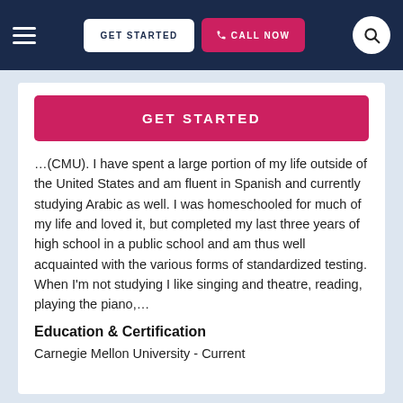GET STARTED | CALL NOW
[Figure (screenshot): Navigation bar with hamburger menu, GET STARTED button, CALL NOW button, and search icon on dark navy background]
GET STARTED
…(CMU). I have spent a large portion of my life outside of the United States and am fluent in Spanish and currently studying Arabic as well. I was homeschooled for much of my life and loved it, but completed my last three years of high school in a public school and am thus well acquainted with the various forms of standardized testing. When I'm not studying I like singing and theatre, reading, playing the piano,…
Education & Certification
Carnegie Mellon University - Current